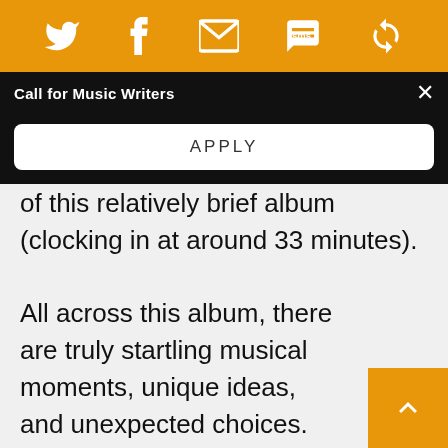[Figure (screenshot): Orange social sharing toolbar with Twitter, Facebook, email/envelope, SMS, and bookmark/refresh icons in white on orange background]
Call for Music Writers
APPLY
of this relatively brief album (clocking in at around 33 minutes).
All across this album, there are truly startling musical moments, unique ideas, and unexpected choices. Rival Consoles has taken the road less traveled by wiping the slate clean, and the result is a refreshing, disarming, brilliant collection of music.